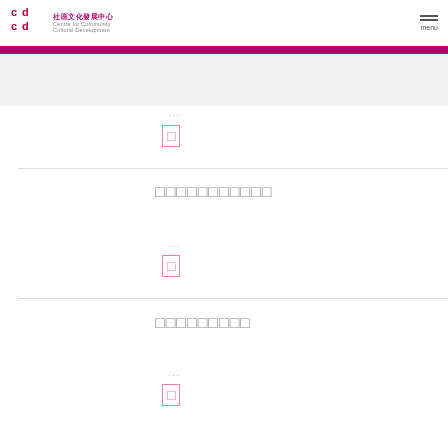社區文化發展中心 Centre for Community Cultural Development — menu
...
□
□□□□□□□□□□□□
...
□
□□□□□□□□□
...
□